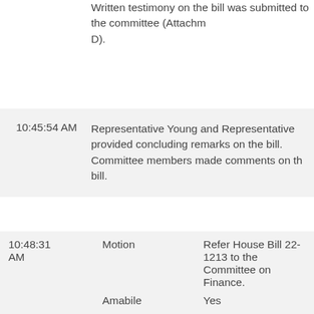Written testimony on the bill was submitted to the committee (Attachment D).
| 10:45:54 AM | Representative Young and Representative provided concluding remarks on the bill. Committee members made comments on the bill. |
| 10:48:31 AM | Motion | Refer House Bill 22-1213 to the Committee on Finance. |
|  | Moved | Young |
|  | Seconded | Williams |
|  | Amabile | Yes |